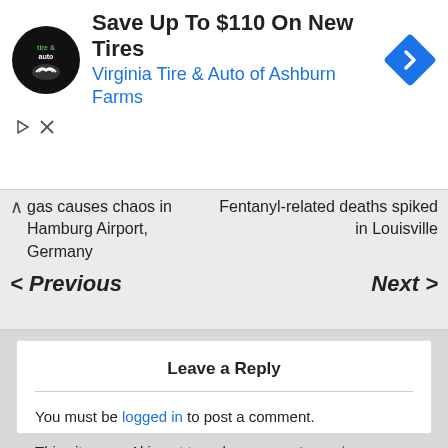[Figure (logo): Virginia Tire & Auto logo — circular black badge with 'tire & auto' text and a handshake graphic]
Save Up To $110 On New Tires
Virginia Tire & Auto of Ashburn Farms
[Figure (logo): Blue diamond-shaped navigation arrow icon (Google Ads)]
gas causes chaos in Hamburg Airport, Germany
Fentanyl-related deaths spiked in Louisville
< Previous
Next >
Leave a Reply
You must be logged in to post a comment.
This site uses Akismet to reduce spam. Learn how your comment data is processed.